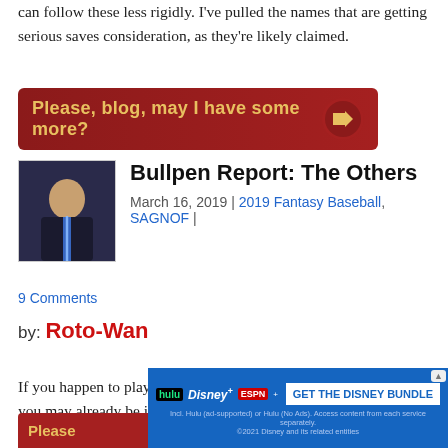can follow these less rigidly. I've pulled the names that are getting serious saves consideration, as they're likely claimed.
[Figure (other): Red blog banner button reading 'Please, blog, may I have some more?' with a right-arrow icon on the right side]
Bullpen Report: The Others
March 16, 2019 | 2019 Fantasy Baseball, SAGNOF | 9 Comments
by: Roto-Wan
If you happen to play in an enlightened fantasy baseball league you may already be incorporating holds. These relievers all get a big bump if so. If you're still using saves alone like a neanderthal these guys are still worth having on your radar for their given boosts. The parade of arm soreness has begun in earnest. Consider these names in a pinch if/w...
[Figure (other): Disney Bundle advertisement banner with Hulu, Disney+, ESPN+ logos and 'GET THE DISNEY BUNDLE' call to action button]
[Figure (other): Red 'Please...' button partially visible at bottom of page]